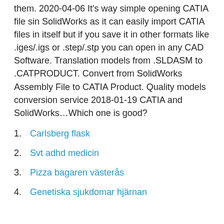them. 2020-04-06 It's way simple opening CATIA file sin SolidWorks as it can easily import CATIA files in itself but if you save it in other formats like .iges/.igs or .step/.stp you can open in any CAD Software. Translation models from .SLDASM to .CATPRODUCT. Convert from SolidWorks Assembly File to CATIA Product. Quality models conversion service 2018-01-19 CATIA and SolidWorks…Which one is good?
Carlsberg flask
Svt adhd medicin
Pizza bagaren västerås
Genetiska sjukdomar hjärnan